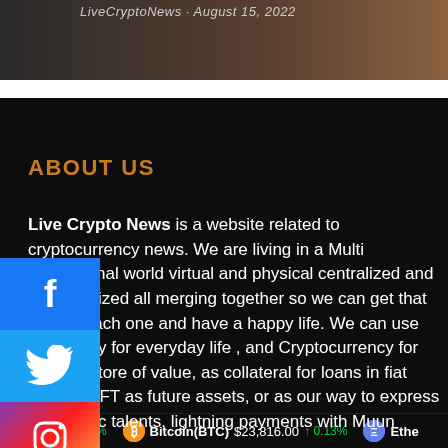[Figure (photo): Top banner image showing a dark background with a partially visible document or surface, overlaid with text 'LiveCryptoNews · August 15, 2022' in italic gray font.]
ABOUT US
Live Crypto News is a website related to cryptocurrency news. We are living in a Multi dimensional world virtual and physical centralized and decentralized all merging together so we can get that best of each one and have a happy life. We can use fiat money for everyday life , and Cryptocurrency for trading, store of value, as collateral for loans in fiat money, NFT as future assets, or as our way to express our artistic talents, lightning payments with Muun
[Figure (infographic): Social media share buttons stacked vertically on the left side: Facebook (blue with f icon), Twitter (blue with bird icon), Instagram (gradient with camera icon).]
H) $1.00 ↑ 0.00%   Bitcoin(BTC) $23,816.00 ↑ 0.13%   Ethe